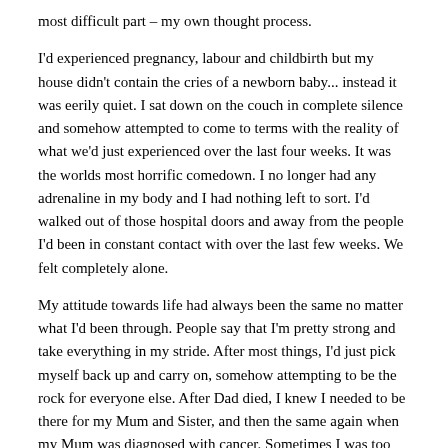most difficult part – my own thought process.
I'd experienced pregnancy, labour and childbirth but my house didn't contain the cries of a newborn baby... instead it was eerily quiet. I sat down on the couch in complete silence and somehow attempted to come to terms with the reality of what we'd just experienced over the last four weeks. It was the worlds most horrific comedown. I no longer had any adrenaline in my body and I had nothing left to sort. I'd walked out of those hospital doors and away from the people I'd been in constant contact with over the last few weeks. We felt completely alone.
My attitude towards life had always been the same no matter what I'd been through. People say that I'm pretty strong and take everything in my stride. After most things, I'd just pick myself back up and carry on, somehow attempting to be the rock for everyone else. After Dad died, I knew I needed to be there for my Mum and Sister, and then the same again when my Mum was diagnosed with cancer. Sometimes I was too busy worrying about everyone else that I never really sat down to think about how I was really feeling about it all. I'd always cared so much about the people around me and making sure they were okay, but after losing Ivy, that seemed to completely change and to be honest, I didn't care very much about everyone or anything. I was far from strong and I had...